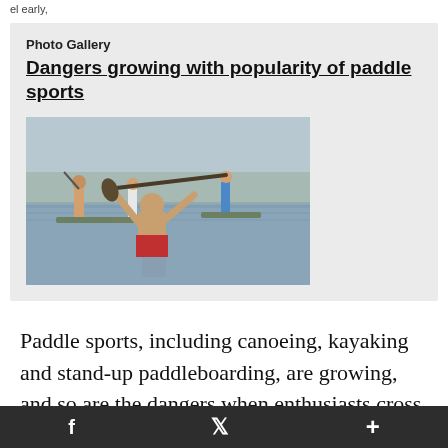el early,
Photo Gallery
Dangers growing with popularity of paddle sports
[Figure (photo): People stand-up paddleboarding on a lake. In the foreground a shirtless man in red shorts holds a paddle above his head with both arms raised. Behind him two other paddlers stand on boards on calm water.]
Paddle sports, including canoeing, kayaking and stand-up paddleboarding, are growing, and so are the dangers when enthusiasts cross
f  𝕏  +